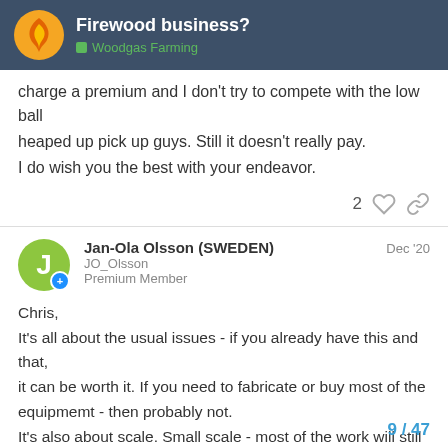Firewood business? | Woodgas Farming
charge a premium and I don't try to compete with the low ball heaped up pick up guys. Still it doesn't really pay.
I do wish you the best with your endeavor.
2 ♡ 🔗
Jan-Ola Olsson (SWEDEN) JO_Olsson Premium Member Dec '20
Chris,
It's all about the usual issues - if you already have this and that, it can be worth it. If you need to fabricate or buy most of the equipmemt - then probably not.
It's also about scale. Small scale - most of the work will still be wood handling. Invest in more equipment and you become a part time mecanic. Worst case you end up in fro... computer with the phone to your ear without touching a single log.
9 / 47